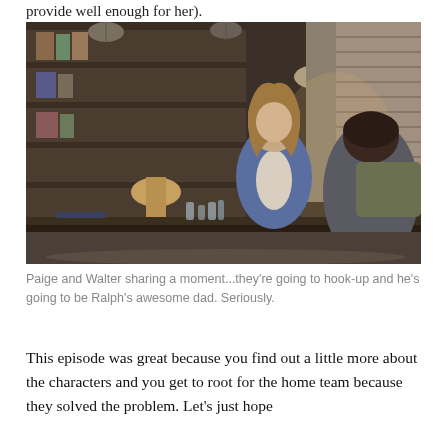provide well enough for her).
[Figure (photo): Two people sitting at a large wooden table in an industrial-style loft. A woman in a blue jacket faces the camera while a man with dark hair sits across from her with his back to the camera. The background shows bookshelves, lamps, and large windows with blinds.]
Paige and Walter sharing a moment...they're going to hook-up and he's going to be Ralph's awesome dad. Seriously.
This episode was great because you find out a little more about the characters and you get to root for the home team because they solved the problem. Let's just hope